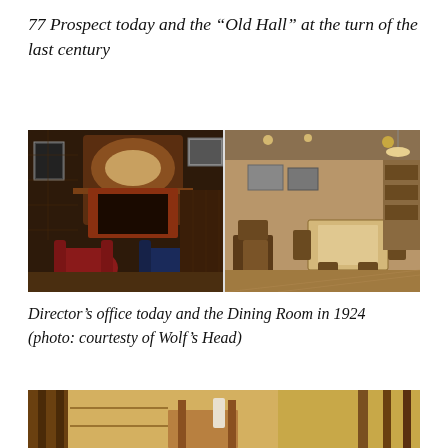77 Prospect today and the “Old Hall” at the turn of the last century
[Figure (photo): Two side-by-side photos: left shows a richly paneled room with fireplace, arched mantel, and leather armchairs (Director's office today); right shows a sepia-toned old dining room with tables and chairs (Old Hall, circa 1924)]
Director’s office today and the Dining Room in 1924 (photo: courtesty of Wolf’s Head)
[Figure (photo): Partial view of a room interior showing wooden furniture and shelving, cropped at bottom of page]